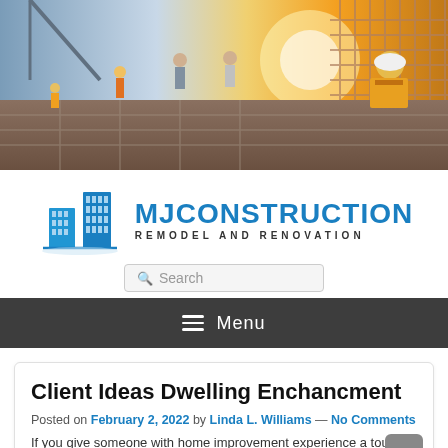[Figure (photo): Construction site header photo showing workers in safety gear and hard hats on a concrete slab with rebar and cranes in background, warm sunset lighting]
[Figure (logo): MJ Construction Remodel and Renovation logo with blue building graphic and blue text]
Search
Menu
Client Ideas Dwelling Enchancment
Posted on February 2, 2022 by Linda L. Williams — No Comments
If you give someone with home improvement experience a tour, you will